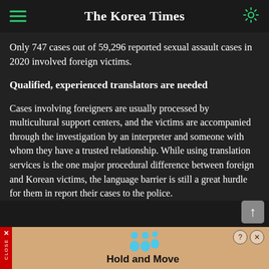The Korea Times
Only 747 cases out of 59,296 reported sexual assault cases in 2020 involved foreign victims.
Qualified, experienced translators are needed
Cases involving foreigners are usually processed by multicultural support centers, and the victims are accompanied through the investigation by an interpreter and someone with whom they have a trusted relationship. While using translation services is the one major procedural difference between foreign and Korean victims, the language barrier is still a great hurdle for them in report their cases to the police.
[Figure (screenshot): Advertisement banner at the bottom: 'Hold and Move' app ad with cartoon figures, red close button on left side]